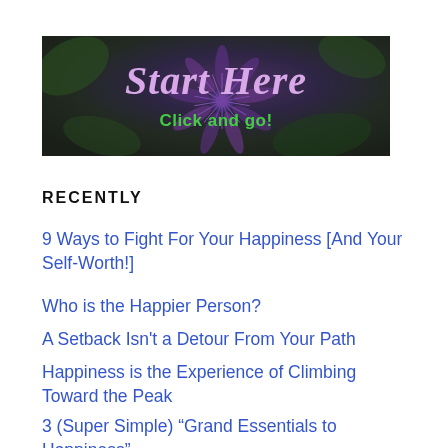[Figure (illustration): Banner image with a purple passionflower in the background, dark green/purple overlay. Large italic cursive text reads 'Start Here' in light purple/lavender, and below it 'Click and go!' in bright green.]
RECENTLY
9 Ways to Fight For Your Happiness [And Your Self-Worth!]
Who is the Happier Person?
A Setback Isn't a Detour From Your Path
Happiness is the Experience of Climbing Toward the Peak
3 (Super Simple) “Grand Essentials to Happiness”